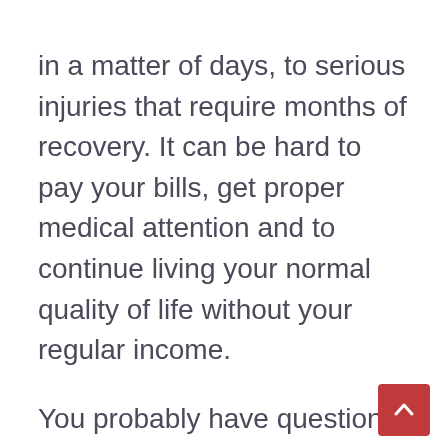in a matter of days, to serious injuries that require months of recovery. It can be hard to pay your bills, get proper medical attention and to continue living your normal quality of life without your regular income.
You probably have questions regarding Louisiana Workers Compensation Benefits and this guide will help you answer them. Louisiana Workers' Compensation Laws are complex and you may need to speak with an attorney if you've been injured at work.